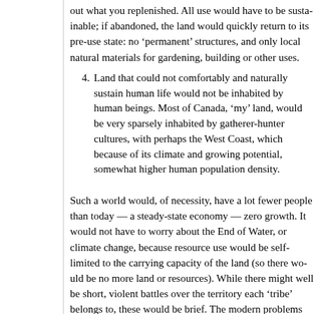out what you replenished. All use would have to be sustainable; if abandoned, the land would quickly return to its pre-use state: no 'permanent' structures, and only local natural materials for gardening, building or other uses.
4. Land that could not comfortably and naturally sustain human life would not be inhabited by human beings. Most of Canada, 'my' land, would be very sparsely inhabited by gatherer-hunter cultures, with perhaps the West Coast, which because of its climate and growing potential, somewhat higher human population density.
Such a world would, of necessity, have a lot fewer people than today — a steady-state economy — zero growth. It would not have to worry about the End of Water, or climate change, because resource use would be self-limited to the carrying capacity of the land (so there would be no more land or resources). While there might well be short, violent battles over the territory each 'tribe' belongs to, these would be brief. The modern problems that are related to over-population (epidemics, poverty, desertification and soil impoverishment, food insecurity) would not occur. We would live long, healthy, peaceful lives.